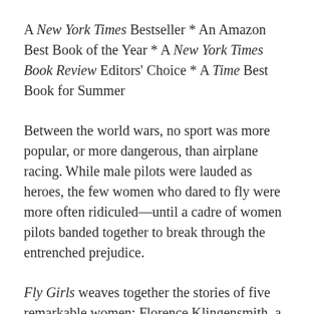A New York Times Bestseller * An Amazon Best Book of the Year * A New York Times Book Review Editors' Choice * A Time Best Book for Summer
Between the world wars, no sport was more popular, or more dangerous, than airplane racing. While male pilots were lauded as heroes, the few women who dared to fly were more often ridiculed—until a cadre of women pilots banded together to break through the entrenched prejudice.
Fly Girls weaves together the stories of five remarkable women: Florence Klingensmith, a high school dropout from Fargo, North Dakota;